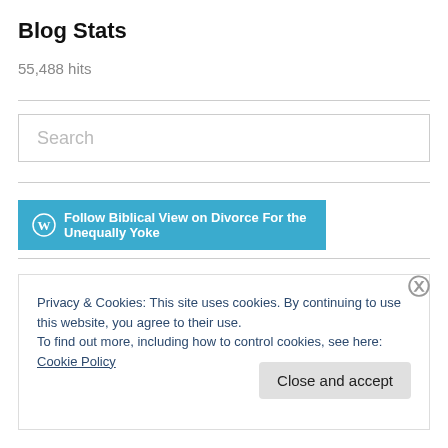Blog Stats
55,488 hits
[Figure (other): Search input box with placeholder text 'Search']
[Figure (other): Follow button: WordPress icon followed by text 'Follow Biblical View on Divorce For the Unequally Yoke' on teal/cyan background]
Privacy & Cookies: This site uses cookies. By continuing to use this website, you agree to their use.
To find out more, including how to control cookies, see here: Cookie Policy
Close and accept